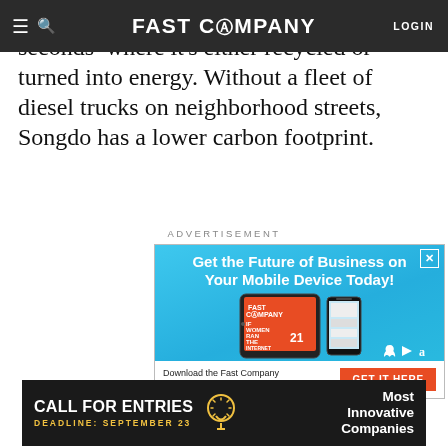FAST COMPANY — LOGIN
pines to a central sorting facility in seconds–where it's either recycled or turned into energy. Without a fleet of diesel trucks on neighborhood streets, Songdo has a lower carbon footprint.
ADVERTISEMENT
[Figure (screenshot): Fast Company magazine app advertisement with blue gradient background. Headline: 'Get the Future of Business on Your Mobile Device Today!' with images of a tablet and phone showing the Fast Company magazine. App store icons visible. Bottom bar with text 'Download the Fast Company Magazine App for Free!' and orange CTA button 'GET IT HERE'.]
[Figure (screenshot): Black banner advertisement: 'CALL FOR ENTRIES DEADLINE: SEPTEMBER 23' with lightbulb icon and 'Most Innovative Companies' text on right.]